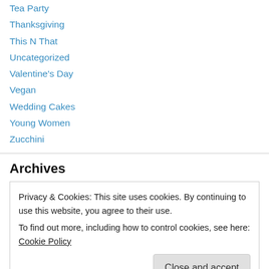Tea Party
Thanksgiving
This N That
Uncategorized
Valentine's Day
Vegan
Wedding Cakes
Young Women
Zucchini
Archives
Privacy & Cookies: This site uses cookies. By continuing to use this website, you agree to their use.
To find out more, including how to control cookies, see here: Cookie Policy
January 2022